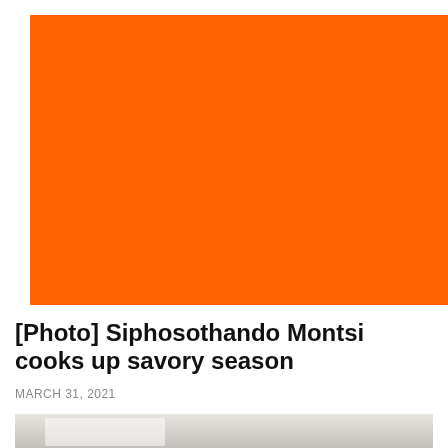[Figure (photo): Large orange/red-orange solid color background image placeholder]
[Photo] Siphosothando Montsi cooks up savory season
MARCH 31, 2021
[Figure (photo): Partial bottom image showing a blurred light-colored food or kitchen scene]